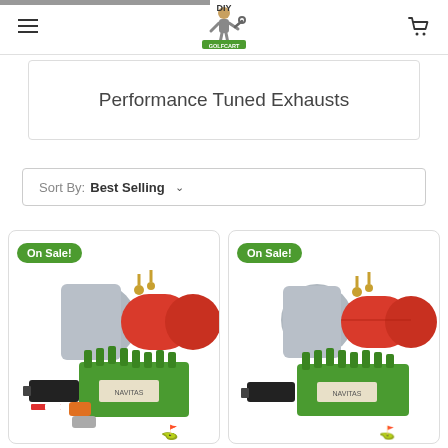DIY Golf Cart - Performance Tuned Exhausts
Performance Tuned Exhausts
Sort By: Best Selling
[Figure (photo): Golf cart motor/controller kit product photo with red and silver motor, green controller, On Sale badge]
[Figure (photo): Golf cart motor/controller kit product photo with red and silver motor, green controller, On Sale badge]